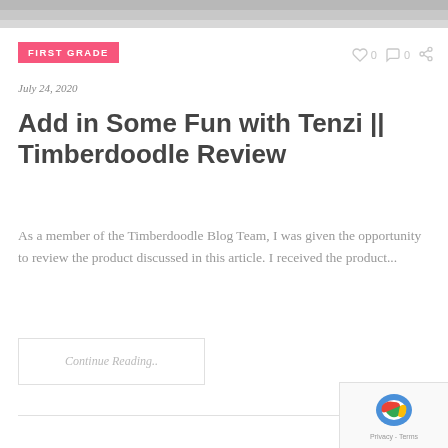[Figure (photo): Partial image visible at top of page, cropped furniture/indoor scene in gray tones]
FIRST GRADE
0  0
July 24, 2020
Add in Some Fun with Tenzi || Timberdoodle Review
As a member of the Timberdoodle Blog Team, I was given the opportunity to review the product discussed in this article. I received the product...
Continue Reading..
[Figure (logo): reCAPTCHA badge with Privacy and Terms text]